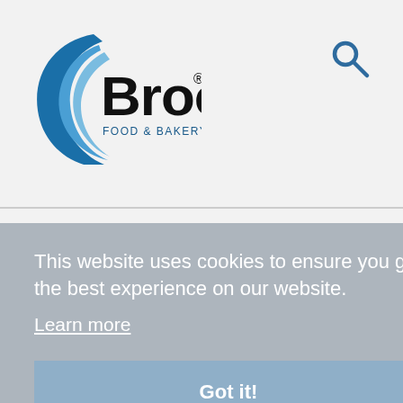[Figure (logo): Brook Food & Bakery Equipment logo with blue crescent arc and black bold text 'Brook' with registered trademark symbol, subtitle 'FOOD & BAKERY EQUIPMENT']
[Figure (other): Search icon (magnifying glass) in dark blue, top right corner of header]
This website uses cookies to ensure you get the best experience on our website.
Learn more
Got it!